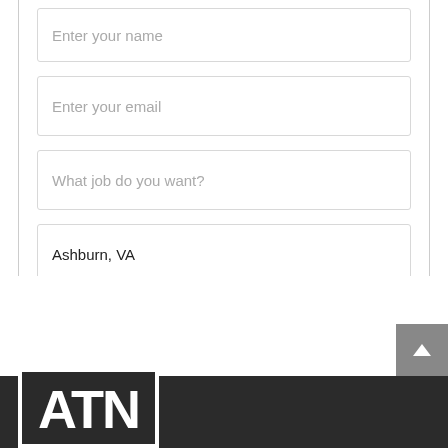[Figure (screenshot): Web form with four input fields: Enter your name, Enter your email, What job do you want?, Ashburn VA (pre-filled location). Below the fields is a teal Submit button. The form is inside a white bordered container.]
[Figure (screenshot): Dark footer area with a grey scroll-to-top button (arrow icon) in the upper right, and an ATN logo in white text on black background in the lower left.]